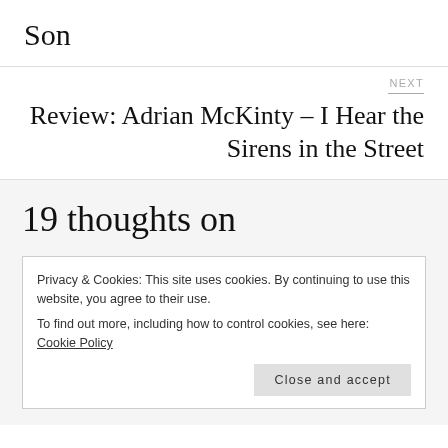Son
NEXT
Review: Adrian McKinty – I Hear the Sirens in the Street
19 thoughts on
Privacy & Cookies: This site uses cookies. By continuing to use this website, you agree to their use.
To find out more, including how to control cookies, see here: Cookie Policy
Close and accept